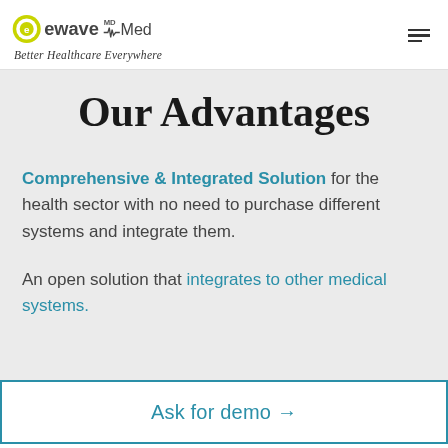ewave MD Medical — Better Healthcare Everywhere
Our Advantages
Comprehensive & Integrated Solution for the health sector with no need to purchase different systems and integrate them.
An open solution that integrates to other medical systems.
Ask for demo →